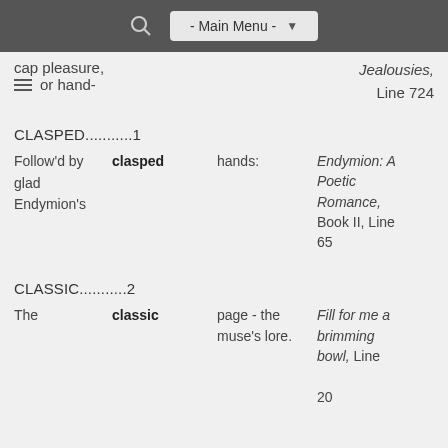- Main Menu -
cap pleasure,
or hand-
Jealousies, Line 724
CLASPED...........1
Follow'd by clasped hands: glad Endymion's
Endymion: A Poetic Romance, Book II, Line 65
CLASSIC...........2
The classic page - the muse's lore.
Fill for me a brimming bowl, Line 20